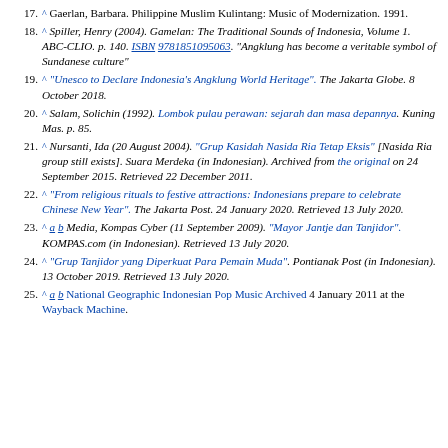17. ^ Gaerlan, Barbara. Philippine Muslim Kulintang: Music of Modernization. 1991.
18. ^ Spiller, Henry (2004). Gamelan: The Traditional Sounds of Indonesia, Volume 1. ABC-CLIO. p. 140. ISBN 9781851095063. "Angklung has become a veritable symbol of Sundanese culture"
19. ^ "Unesco to Declare Indonesia's Angklung World Heritage". The Jakarta Globe. 8 October 2018.
20. ^ Salam, Solichin (1992). Lombok pulau perawan: sejarah dan masa depannya. Kuning Mas. p. 85.
21. ^ Nursanti, Ida (20 August 2004). "Grup Kasidah Nasida Ria Tetap Eksis" [Nasida Ria group still exists]. Suara Merdeka (in Indonesian). Archived from the original on 24 September 2015. Retrieved 22 December 2011.
22. ^ "From religious rituals to festive attractions: Indonesians prepare to celebrate Chinese New Year". The Jakarta Post. 24 January 2020. Retrieved 13 July 2020.
23. ^ a b Media, Kompas Cyber (11 September 2009). "Mayor Jantje dan Tanjidor". KOMPAS.com (in Indonesian). Retrieved 13 July 2020.
24. ^ "Grup Tanjidor yang Diperkuat Para Pemain Muda". Pontianak Post (in Indonesian). 13 October 2019. Retrieved 13 July 2020.
25. ^ a b National Geographic Indonesian Pop Music Archived 4 January 2011 at the Wayback Machine.